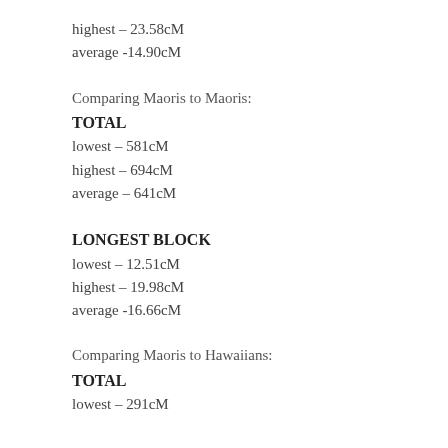highest – 23.58cM
average - 14.90cM
Comparing Maoris to Maoris:
TOTAL
lowest –  581cM
highest – 694cM
average – 641cM
LONGEST BLOCK
lowest – 12.51cM
highest – 19.98cM
average - 16.66cM
Comparing Maoris to Hawaiians:
TOTAL
lowest –  291cM